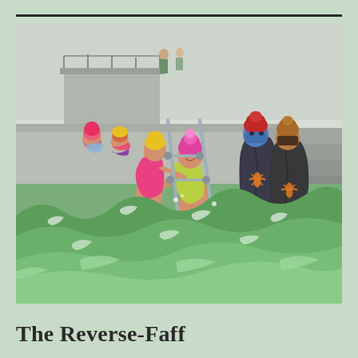[Figure (illustration): An illustration of wild swimmers at an outdoor tidal pool or sea swimming spot. In the foreground, large green waves crash dramatically. Several figures in bright swimwear (yellow-green swimsuit, pink woolly hat; pink swimsuit, yellow woolly hat) hold metal handrails descending into the water. In the background, two bundled-up spectators in heavy dark cloaks stand watching, wearing blue and red woolly hats with orange octopus motifs. Further back, two other swimmers crouch near gear on a platform, with a metal-railed viewing structure behind them. The scene conveys the cold-water swimming culture known as 'faffing' — or in this case, the 'Reverse-Faff' of getting out rather than in.]
The Reverse-Faff